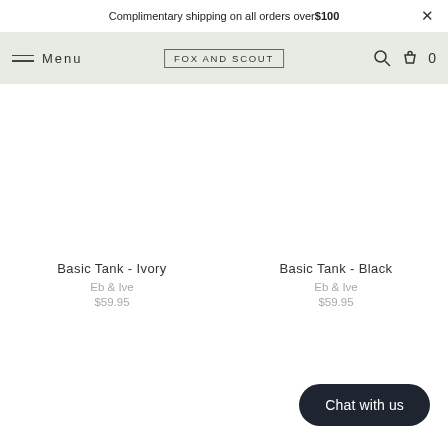Complimentary shipping on all orders over $100
Menu | FOX AND SCOUT | Search | Cart 0
Basic Tank - Ivory
Eb & Ive
$59.95
Basic Tank - Black
Eb & Ive
$59.95
Chat with us